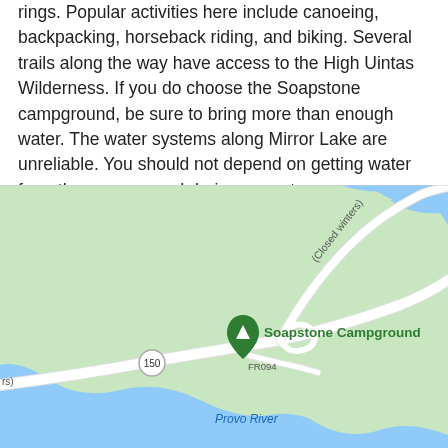rings. Popular activities here include canoeing, backpacking, horseback riding, and biking. Several trails along the way have access to the High Uintas Wilderness. If you do choose the Soapstone campground, be sure to bring more than enough water. The water systems along Mirror Lake are unreliable. You should not depend on getting water from the campground during your stay.
[Figure (map): Google Maps style map showing Soapstone Campground near Highway 150 and FR094, with the Provo River visible. A road labeled '(Closed winters)' is shown. The campground is marked with a green pin icon.]